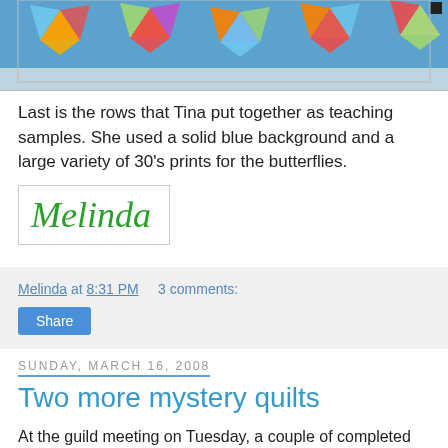[Figure (photo): A quilt with pinwheel blocks on a blue background, shown as a horizontal strip photo at the top of the page.]
Last is the rows that Tina put together as teaching samples. She used a solid blue background and a large variety of 30's prints for the butterflies.
[Figure (illustration): Handwritten signature 'Melinda' in green cursive script inside a bordered box.]
Melinda at 8:31 PM   3 comments:
Share
Sunday, March 16, 2008
Two more mystery quilts
At the guild meeting on Tuesday, a couple of completed mystery quilts were shown. Here is Arlena's. It isn't quilted and she doesn't like it at all. Some of her colors were too